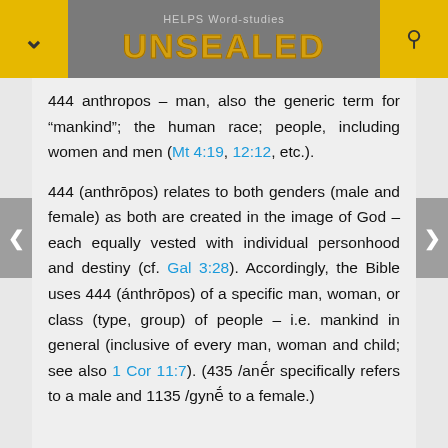HELPS Word-studies UNSEALED
444 anthropos – man, also the generic term for "mankind"; the human race; people, including women and men (Mt 4:19, 12:12, etc.).
444 (anthrōpos) relates to both genders (male and female) as both are created in the image of God – each equally vested with individual personhood and destiny (cf. Gal 3:28). Accordingly, the Bible uses 444 (ánthrōpos) of a specific man, woman, or class (type, group) of people – i.e. mankind in general (inclusive of every man, woman and child; see also 1 Cor 11:7). (435 /anḗr specifically refers to a male and 1135 /gynḗ to a female.)